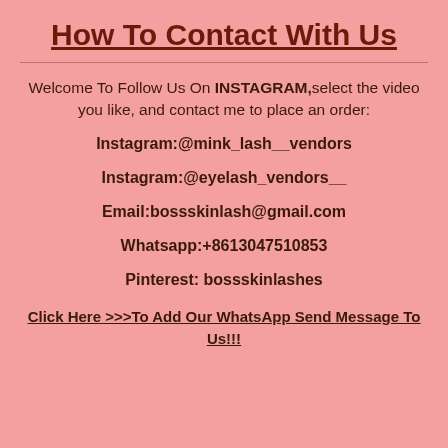How To Contact With Us
Welcome To Follow Us On INSTAGRAM,select the video you like, and contact me to place an order:
Instagram:@mink_lash__vendors
Instagram:@eyelash_vendors__
Email:bossskinlash@gmail.com
Whatsapp:+8613047510853
Pinterest: bossskinlashes
Click Here >>>To Add Our WhatsApp Send Message To Us!!!